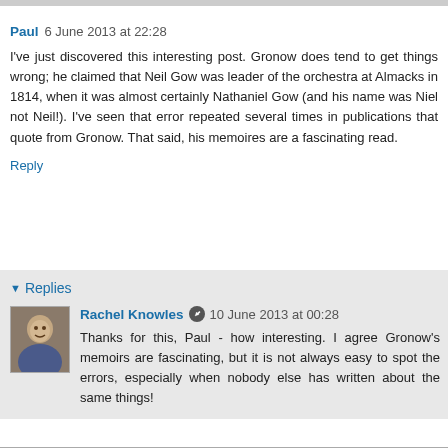Paul 6 June 2013 at 22:28
I've just discovered this interesting post. Gronow does tend to get things wrong; he claimed that Neil Gow was leader of the orchestra at Almacks in 1814, when it was almost certainly Nathaniel Gow (and his name was Niel not Neil!). I've seen that error repeated several times in publications that quote from Gronow. That said, his memoires are a fascinating read.
Reply
Replies
Rachel Knowles 10 June 2013 at 00:28
Thanks for this, Paul - how interesting. I agree Gronow's memoirs are fascinating, but it is not always easy to spot the errors, especially when nobody else has written about the same things!